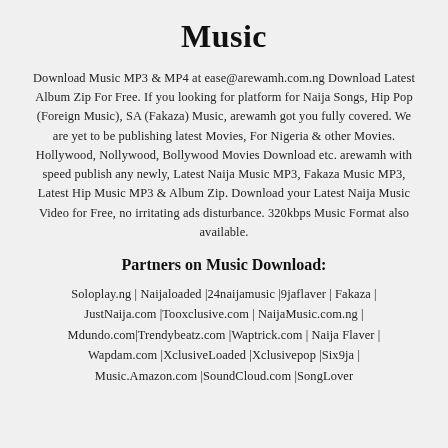Music
Download Music MP3 & MP4 at ease@arewamh.com.ng Download Latest Album Zip For Free. If you looking for platform for Naija Songs, Hip Pop (Foreign Music), SA (Fakaza) Music, arewamh got you fully covered. We are yet to be publishing latest Movies, For Nigeria & other Movies. Hollywood, Nollywood, Bollywood Movies Download etc. arewamh with speed publish any newly, Latest Naija Music MP3, Fakaza Music MP3, Latest Hip Music MP3 & Album Zip. Download your Latest Naija Music Video for Free, no irritating ads disturbance. 320kbps Music Format also available.
Partners on Music Download:
Soloplay.ng | Naijaloaded |24naijamusic |9jaflaver | Fakaza | JustNaija.com |Tooxclusive.com | NaijaMusic.com.ng | Mdundo.com|Trendybeatz.com |Waptrick.com | Naija Flaver | Wapdam.com |XclusiveLoaded |Xclusivepop |Six9ja | Music.Amazon.com |SoundCloud.com |SongLover